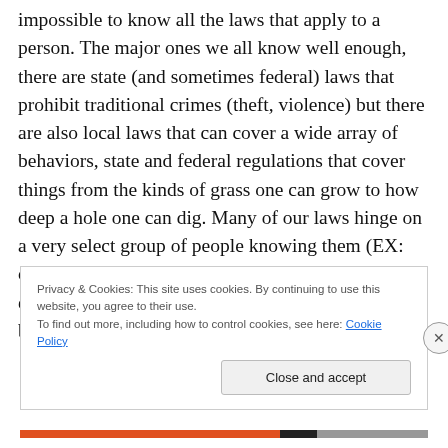impossible to know all the laws that apply to a person. The major ones we all know well enough, there are state (and sometimes federal) laws that prohibit traditional crimes (theft, violence) but there are also local laws that can cover a wide array of behaviors, state and federal regulations that cover things from the kinds of grass one can grow to how deep a hole one can dig. Many of our laws hinge on a very select group of people knowing them (EX: corp. tax law) and an even more select groups enforcing them (EX: IRS). The result is laws tend to be very easy to break, and
Privacy & Cookies: This site uses cookies. By continuing to use this website, you agree to their use.
To find out more, including how to control cookies, see here: Cookie Policy